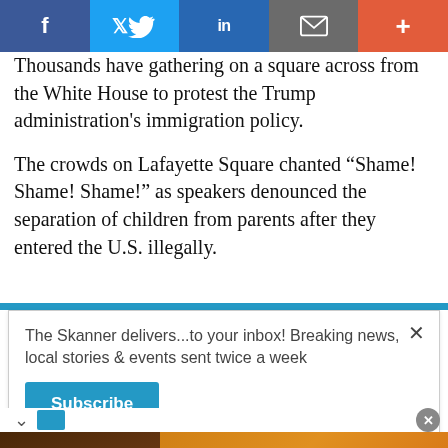[Figure (screenshot): Social media share bar with Facebook, Twitter, LinkedIn, Email, and Plus buttons]
Thousands have gathering on a square across from the White House to protest the Trump administration's immigration policy.
The crowds on Lafayette Square chanted “Shame! Shame! Shame!” as speakers denounced the separation of children from parents after they entered the U.S. illegally.
The Skanner delivers...to your inbox! Breaking news, local stories & events sent twice a week
[Figure (screenshot): Advertisement for Sedona Apartments in Houston TX showing building photo, address 14402 Pavilion Point Houston TX 77083, phone 281-568-4596, website www.apartments.com, with text 1 Y 2 RECAMARAS and RENTA TU APARTAMENTO Y MUDATE HOY! VEN Y VISITANOS]